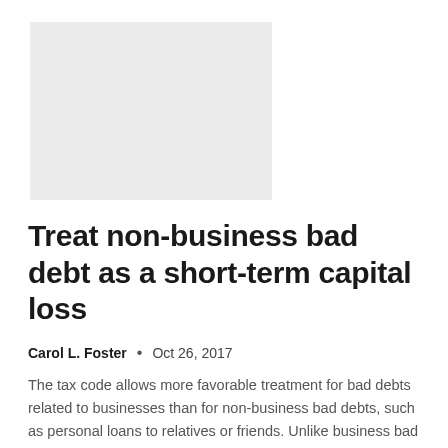[Figure (other): Light gray rectangular image placeholder]
Treat non-business bad debt as a short-term capital loss
Carol L. Foster  •  Oct 26, 2017
The tax code allows more favorable treatment for bad debts related to businesses than for non-business bad debts, such as personal loans to relatives or friends. Unlike business bad debts, which are deducted directly from...